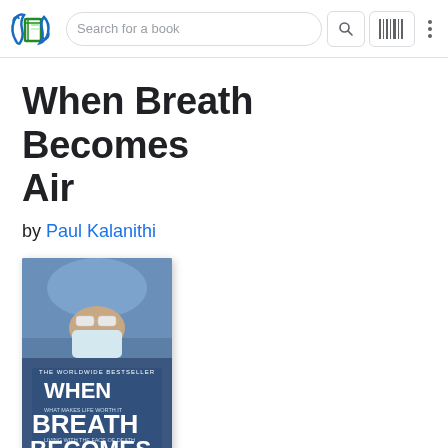[Figure (screenshot): App navigation bar with book search logo, search field reading 'Search for a book', magnifying glass icon, barcode icon, and three-dot menu]
When Breath Becomes Air
by Paul Kalanithi
[Figure (photo): Book cover of 'When Breath Becomes Air' by Paul Kalanithi. Shows a person in surgical scrubs and mask. Text on cover reads: THE WORLDWIDE BESTSELLER / WHEN / BREATH / BECOMES / AIR / PAUL KALANITHI]
Paperback, 256 pages